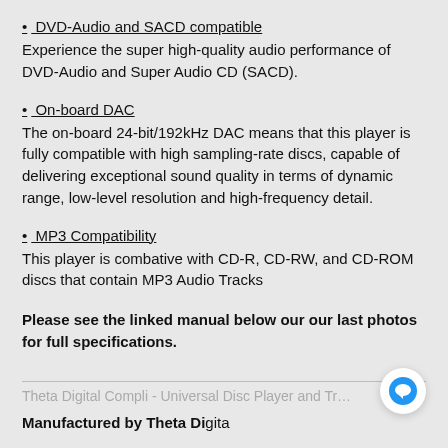• DVD-Audio and SACD compatible
Experience the super high-quality audio performance of DVD-Audio and Super Audio CD (SACD).
• On-board DAC
The on-board 24-bit/192kHz DAC means that this player is fully compatible with high sampling-rate discs, capable of delivering exceptional sound quality in terms of dynamic range, low-level resolution and high-frequency detail.
• MP3 Compatibility
This player is combative with CD-R, CD-RW, and CD-ROM discs that contain MP3 Audio Tracks
Please see the linked manual below our our last photos for full specifications.
Theta Digital Compli - Universal Disc Player and Transport
Manufactured by Theta Digital